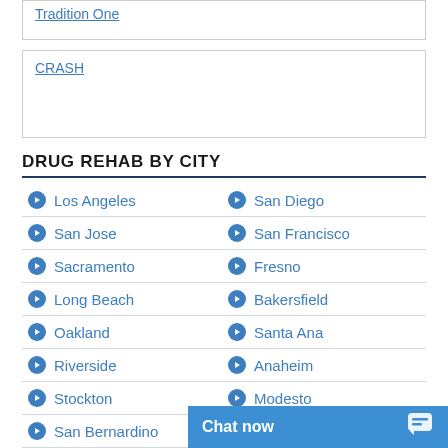Tradition One
CRASH
DRUG REHAB BY CITY
Los Angeles
San Diego
San Jose
San Francisco
Sacramento
Fresno
Long Beach
Bakersfield
Oakland
Santa Ana
Riverside
Anaheim
Stockton
Modesto
San Bernardino
Oceanside
Chat now